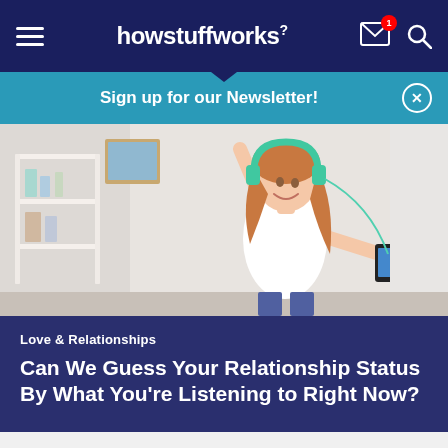howstuffworks
Sign up for our Newsletter!
[Figure (photo): Young woman with teal/green headphones dancing and holding a smartphone, wearing a white top, in a bright room with shelves in the background.]
Love & Relationships
Can We Guess Your Relationship Status By What You're Listening to Right Now?